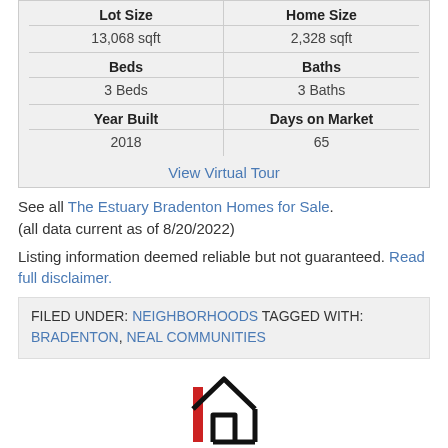| Lot Size | Home Size |
| --- | --- |
| 13,068 sqft | 2,328 sqft |
| Beds | Baths |
| 3 Beds | 3 Baths |
| Year Built | Days on Market |
| 2018 | 65 |
View Virtual Tour
See all The Estuary Bradenton Homes for Sale.
(all data current as of 8/20/2022)
Listing information deemed reliable but not guaranteed. Read full disclaimer.
FILED UNDER: NEIGHBORHOODS TAGGED WITH: BRADENTON, NEAL COMMUNITIES
[Figure (logo): House logo with black outline and red vertical bar on the left side]